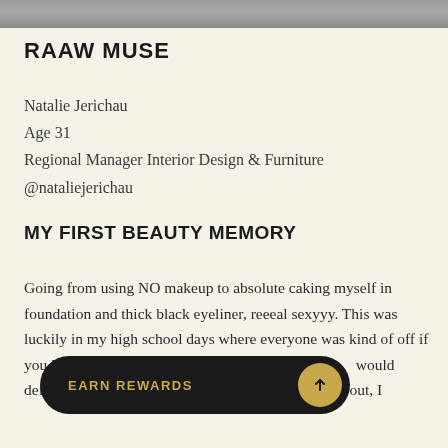[Figure (photo): Cropped bottom edge of a photograph, showing partial image at top of page]
RAAW MUSE
Natalie Jerichau
Age 31
Regional Manager Interior Design & Furniture
@nataliejerichau
MY FIRST BEAUTY MEMORY
Going from using NO makeup to absolute caking myself in foundation and thick black eyeliner, reeeal sexyyy. This was luckily in my high school days where everyone was kind of off if you look back ....If I have to choose a more ro... would definitely be when I wo... were getting ready to go out, I
[Figure (other): EARN REWARDS button — dark pill-shaped button with gold text and gold circle icon with upward arrow]